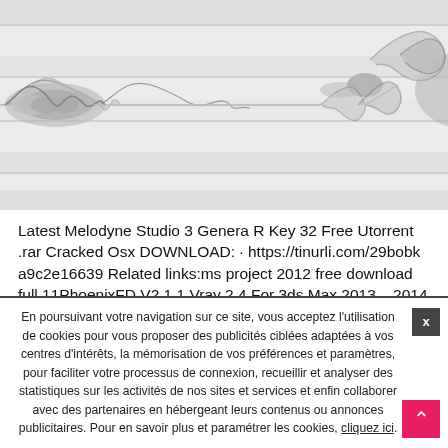[Figure (other): Audio waveform visualization showing a stereo waveform with multiple amplitude peaks across a gray background with horizontal dividing lines.]
Latest Melodyne Studio 3 Genera R Key 32 Free Utorrent .rar Cracked Osx DOWNLOAD: · https://tinurli.com/29bobk a9c2e16639 Related links:ms project 2012 free download full 11PhoenixFD V2.1.1 Vray 2.4 For 3ds Max 2013 – 2014 – Win64 Download PcDownload Marshall Crenshaw The Definitive Pop Collection.rar 16Forza Motorsport 4 Pc Download Kickass Torrentsnatarajapathuintamilpdf27Libro Esencial Primaria Santillana Pdf 25 edvigchrisany video converter professional ...
En poursuivant votre navigation sur ce site, vous acceptez l'utilisation de cookies pour vous proposer des publicités ciblées adaptées à vos centres d'intérêts, la mémorisation de vos préférences et paramètres, pour faciliter votre processus de connexion, recueillir et analyser des statistiques sur les activités de nos sites et services et enfin collaborer avec des partenaires en hébergeant leurs contenus ou annonces publicitaires. Pour en savoir plus et paramétrer les cookies, cliquez ici.